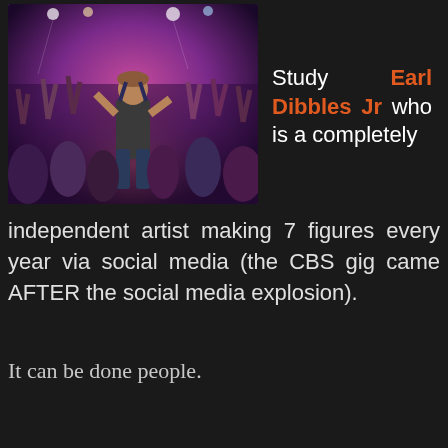[Figure (photo): Concert photo showing a male performer on stage with a large crowd behind him with hands raised, in a dark venue with purple/pink lighting. The performer is wearing overalls with no shirt underneath.]
Study Earl Dibbles Jr who is a completely independent artist making 7 figures every year via social media (the CBS gig came AFTER the social media explosion).
It can be done people.